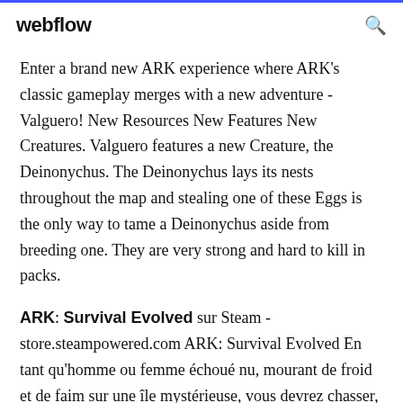webflow
Enter a brand new ARK experience where ARK's classic gameplay merges with a new adventure - Valguero! New Resources New Features New Creatures. Valguero features a new Creature, the Deinonychus. The Deinonychus lays its nests throughout the map and stealing one of these Eggs is the only way to tame a Deinonychus aside from breeding one. They are very strong and hard to kill in packs.
ARK: Survival Evolved sur Steam - store.steampowered.com ARK: Survival Evolved En tant qu'homme ou femme échoué nu, mourant de froid et de faim sur une île mystérieuse, vous devrez chasser, récolter,